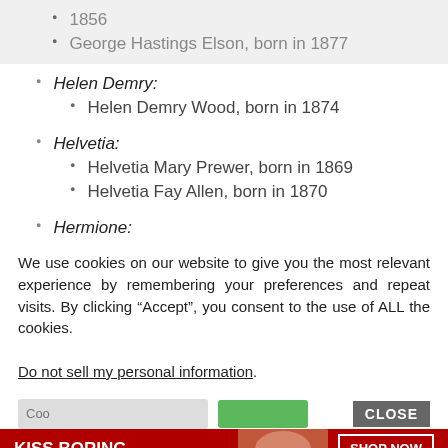1856
George Hastings Elson, born in 1877
Helen Demry:
Helen Demry Wood, born in 1874
Helvetia:
Helvetia Mary Prewer, born in 1869
Helvetia Fay Allen, born in 1870
Hermione:
We use cookies on our website to give you the most relevant experience by remembering your preferences and repeat visits. By clicking “Accept”, you consent to the use of ALL the cookies.
Do not sell my personal information.
[Figure (infographic): Advertisement banner: KISS BORING LIPS GOODBYE with SHOP NOW button and Macy's star logo on dark red background]